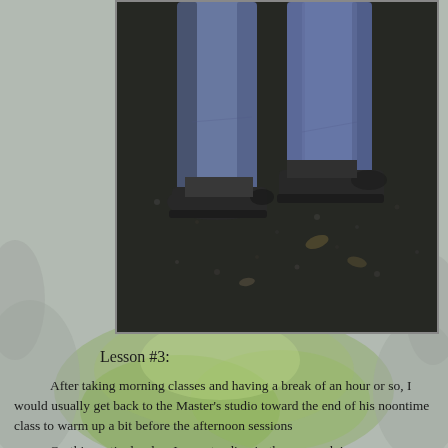[Figure (photo): Close-up photo of a person's lower legs and feet wearing jeans and dark sneakers, standing on a dark gravel or asphalt ground with some leaves visible.]
Lesson #3:
After taking morning classes and having a break of an hour or so, I would usually get back to the Master's studio toward the end of his noontime class to warm up a bit before the afternoon sessions
On this particular day, I was standing in the corner doing some warm-ups rather casually, and watching the final moments of the previous class. All of a sudden the Master came charging across the room with the eyes of a